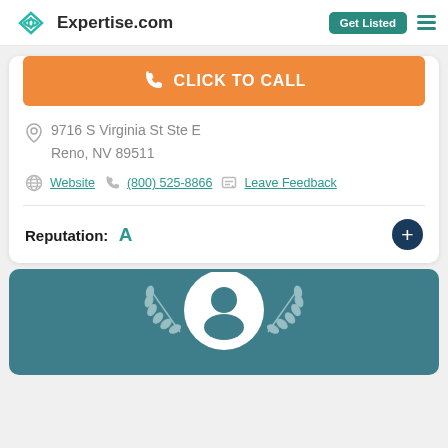[Figure (logo): Expertise.com logo with teal diamond/infinity icon and site name]
Get Listed
CLICK TO CALL
9716 S Virginia St Ste E
Reno, NV 89511
Website  (800) 525-8866  Leave Feedback
Reputation: A
[Figure (illustration): Teal award badge section with laurel wreath and circular profile silhouette icon]